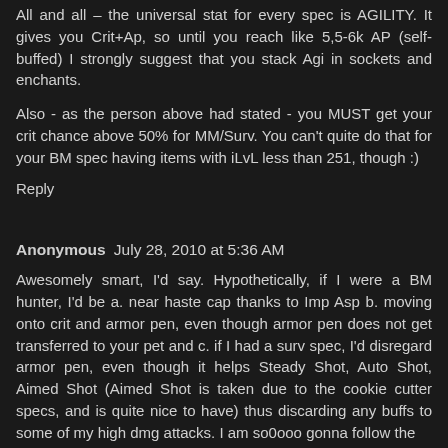All and all – the universal stat for every spec is AGILITY. It gives you Crit+Ap, so until you reach like 5,5-6k AP (self-buffed) I strongly suggest that you stack Agi in sockets and enchants.
Also - as the person above had stated - you MUST get your crit chance above 50% for MM/Surv. You can't quite do that for your BM spec having items with iLvL less than 251, though :)
Reply
Anonymous July 28, 2010 at 5:36 AM
Awesomely smart, I'd say. Hypothetically, if I were a BM hunter, I'd be a. near haste cap thanks to Imp Asp b. moving onto crit and armor pen, even though armor pen does not get transferred to your pet and c. if I had a surv spec, I'd disregard armor pen, even though it helps Steady Shot, Auto Shot, Aimed Shot (Aimed Shot is taken due to the cookie cutter specs, and is quite nice to have) thus discarding any buffs to some of my high dmg attacks. I am so0ooo gonna follow the